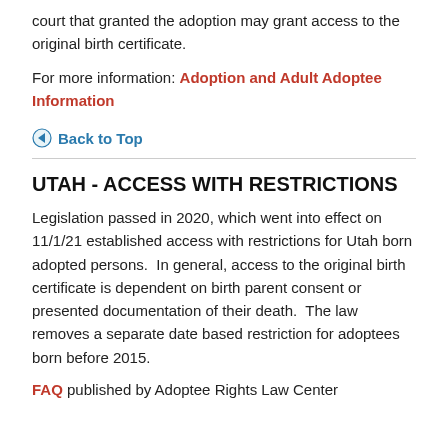court that granted the adoption may grant access to the original birth certificate.
For more information: Adoption and Adult Adoptee Information
Back to Top
UTAH - ACCESS WITH RESTRICTIONS
Legislation passed in 2020, which went into effect on 11/1/21 established access with restrictions for Utah born adopted persons.  In general, access to the original birth certificate is dependent on birth parent consent or presented documentation of their death.  The law removes a separate date based restriction for adoptees born before 2015.
FAQ published by Adoptee Rights Law Center